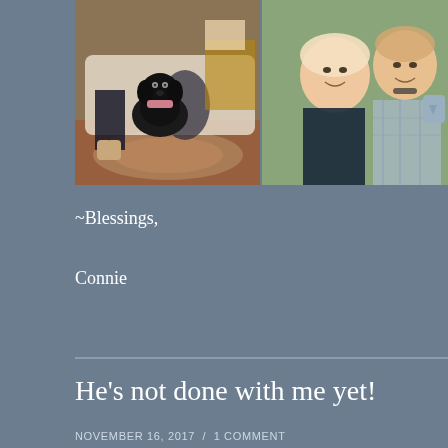[Figure (photo): Two side-by-side photos: left shows a black Labrador dog sitting on a rug with people seated on a couch behind it; right shows a smiling woman and man posing together, man holding a grey mug.]
~Blessings,
Connie
He’s not done with me yet!
NOVEMBER 16, 2017  /  1 COMMENT